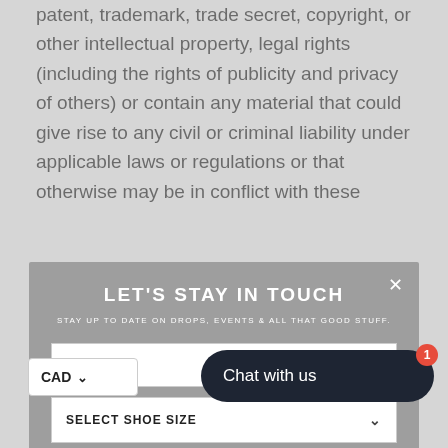patent, trademark, trade secret, copyright, or other intellectual property, legal rights (including the rights of publicity and privacy of others) or contain any material that could give rise to any civil or criminal liability under applicable laws or regulations or that otherwise may be in conflict with these
[Figure (screenshot): Modal popup dialog with dark gray background titled 'LET'S STAY IN TOUCH' with subtitle 'STAY UP TO DATE ON DROPS, EVENTS & ALL THAT GOOD STUFF.' Contains an EMAIL input field, a SELECT SHOE SIZE dropdown, a SIGN UP button, and 'NO THANK YOU, I'M GOOD' link. Has an X close button in top right corner.]
ground or be otherwise objectionable, such determination to be made in Company's sole discretion.
[Figure (screenshot): Dark rounded chat widget button labeled 'Chat with us' with a red badge showing '1'. Also shows CAD currency selector dropdown on left side.]
stalking, attempting to exploit (including minors) in any way by exposing them to